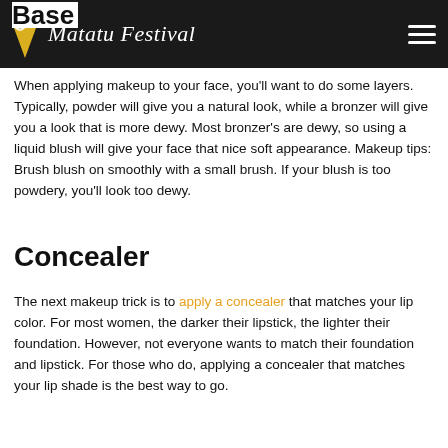Matatu Festival
Base
When applying makeup to your face, you'll want to do some layers. Typically, powder will give you a natural look, while a bronzer will give you a look that is more dewy. Most bronzer's are dewy, so using a liquid blush will give your face that nice soft appearance. Makeup tips: Brush blush on smoothly with a small brush. If your blush is too powdery, you'll look too dewy.
Concealer
The next makeup trick is to apply a concealer that matches your lip color. For most women, the darker their lipstick, the lighter their foundation. However, not everyone wants to match their foundation and lipstick. For those who do, applying a concealer that matches your lip shade is the best way to go.